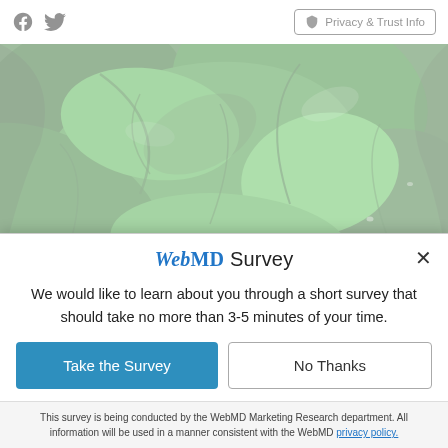Facebook | Twitter | Privacy & Trust Info
[Figure (photo): Close-up photo of fresh green lettuce leaves with water droplets, filling the full width of the page.]
Eat to Reduce Pain
WebMD Survey
We would like to learn about you through a short survey that should take no more than 3-5 minutes of your time.
Take the Survey | No Thanks
This survey is being conducted by the WebMD Marketing Research department. All information will be used in a manner consistent with the WebMD privacy policy.